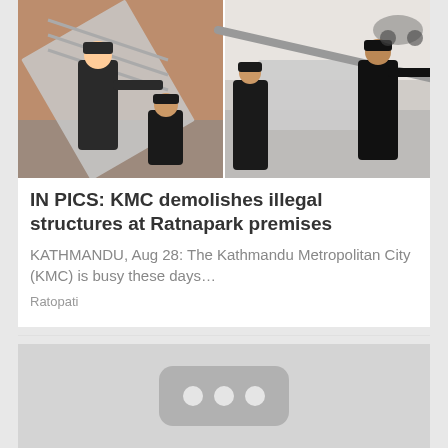[Figure (photo): Two photos side by side showing workers in dark uniforms demolishing structures. Left image: a worker using a tool against a corrugated metal sheet leaning on a brick wall. Right image: workers carrying a large concrete/stone slab with a pole.]
IN PICS: KMC demolishes illegal structures at Ratnapark premises
KATHMANDU, Aug 28: The Kathmandu Metropolitan City (KMC) is busy these days...
Ratopati
[Figure (other): Gray placeholder image with a rounded rectangle icon containing three dots, indicating a loading or unavailable media thumbnail.]